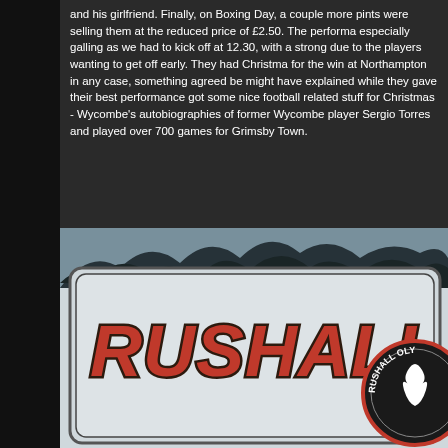and his girlfriend. Finally, on Boxing Day, a couple more pints were selling them at the reduced price of £2.50. The performance was especially galling as we had to kick off at 12.30, with a strong chance due to the players wanting to get off early. They had Christmas bonus for the win at Northampton in any case, something agreed beforehand which might have explained while they gave their best performance. I also got some nice football related stuff for Christmas - Wycombe's history, autobiographies of former Wycombe player Sergio Torres and someone who played over 700 games for Grimsby Town.
[Figure (photo): Rushall Olympic FC sign — a grey rectangular board with the club name 'RUSHALL OL...' in large red letters with dark outline, and the club crest (circular badge with flame/torch) partially visible at the right edge. Bare winter trees visible in the background sky.]